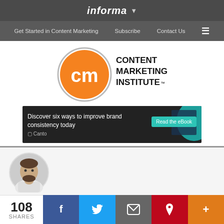informa
Get Started in Content Marketing   Subscribe   Contact Us
[Figure (logo): Content Marketing Institute logo — orange circle with white 'cm' letters and text 'CONTENT MARKETING INSTITUTE' to the right]
[Figure (screenshot): Canto advertisement banner: 'Discover six ways to improve brand consistency today' with 'Read the eBook' button]
[Figure (photo): Circular author headshot of Robert Katai — man with beard wearing white shirt]
By ROBERT KATAI   published APRIL 16, 2019
EST READ TIME:  11 MIN
108 SHARES